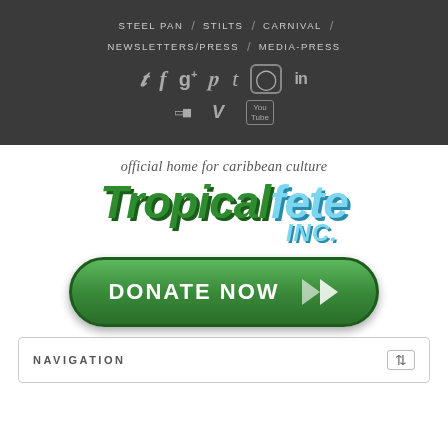STEEL PAN / STILTS / CARNIVAL / NEWSLETTERS/PRESS / MEDIA-PRESS
[Figure (infographic): Social media icons row: Twitter, Facebook, Google+, Pinterest, Tumblr, Instagram, LinkedIn, SoundCloud, Vimeo, YouTube]
[Figure (logo): Tropical Fete Inc logo with tagline 'official home for caribbean culture']
[Figure (infographic): Green DONATE NOW button with double chevron arrows]
| NAVIGATION |  |
| --- | --- |